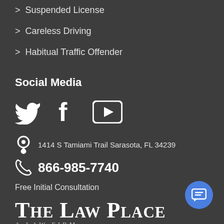Suspended License
Careless Driving
Habitual Traffic Offender
Social Media
[Figure (other): Social media icons: Twitter bird, Facebook f, YouTube play button]
1414 S Tamiami Trail Sarasota, FL 34239
866-985-7740
Free Initial Consultation
The Law Place
A Law Firm